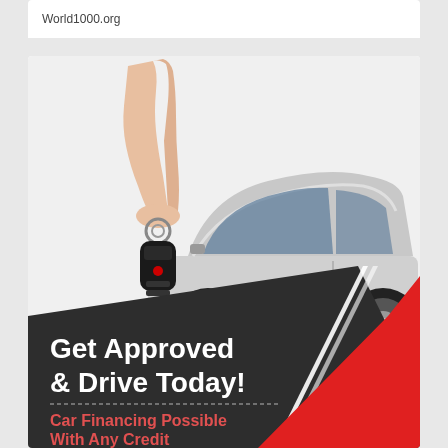World1000.org
[Figure (illustration): Car financing advertisement showing a hand holding car keys with a silver sedan in the background. Lower portion has a dark gray diagonal banner with text 'Get Approved & Drive Today!' and a red diagonal section with text 'Car Financing Possible With Any Credit Score']